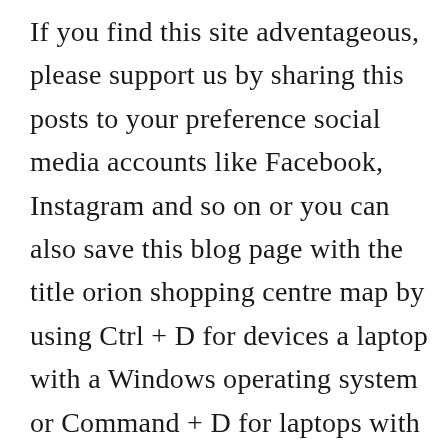If you find this site adventageous, please support us by sharing this posts to your preference social media accounts like Facebook, Instagram and so on or you can also save this blog page with the title orion shopping centre map by using Ctrl + D for devices a laptop with a Windows operating system or Command + D for laptops with an Apple operating system. If you use a smartphone, you can also use the drawer menu of the browser you are using. Whether it's a Windows, Mac, iOS or